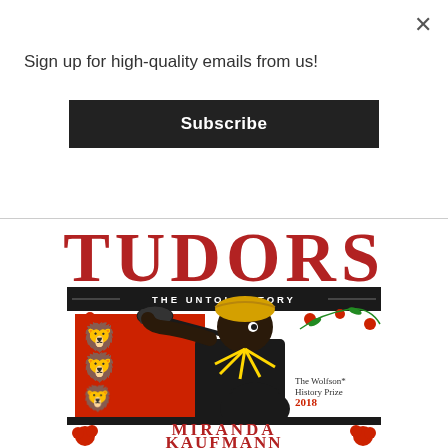Sign up for high-quality emails from us!
Subscribe
[Figure (illustration): Book cover for 'Tudors: The Untold Story' by Miranda Kaufmann, Wolfson History Prize 2018. Shows a woodcut-style illustration of a dark-skinned figure in a yellow turban holding a trumpet with a red heraldic banner displaying golden lions. Decorative roses and vines surround the figure. Text at bottom reads MIRANDA KAUFMANN with red rose decorations.]
TUDORS
THE UNTOLD STORY
The Wolfson* History Prize 2018
MIRANDA KAUFMANN